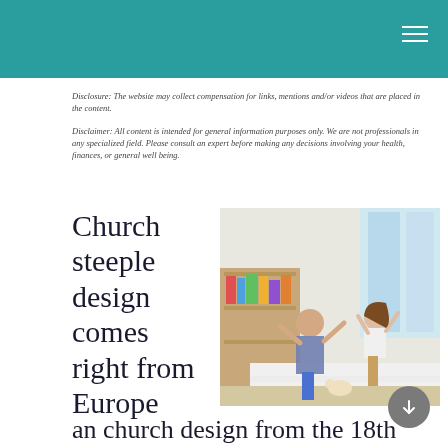Disclosure: The website may collect compensation for links, mentions and/or videos that are placed in the content.
Disclaimer: All content is intended for general information purposes only. We are not professionals in any specialized field. Please consult an expert before making any decisions involving your health, finances, or general well being.
Church steeple design comes right from Europe
[Figure (photo): A man and a young girl jumping and dancing on a bed in a children's bedroom with wooden shelves and toys in the background.]
an church design from the 18th century. When colonist began settling in American